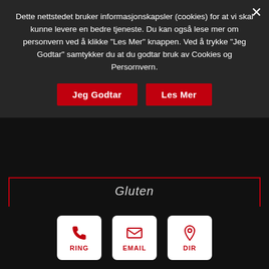Dette nettstedet bruker informasjonskapsler (cookies) for at vi skal kunne levere en bedre tjeneste. Du kan også lese mer om personvern ved å klikke "Les Mer" knappen. Ved å trykke "Jeg Godtar" samtykker du at du godtar bruk av Cookies og Persornvern.
Jeg Godtar
Les Mer
Gluten
Indian Bread
[Figure (photo): Photo of Indian naan bread on a dark background]
RING
EMAIL
DIR